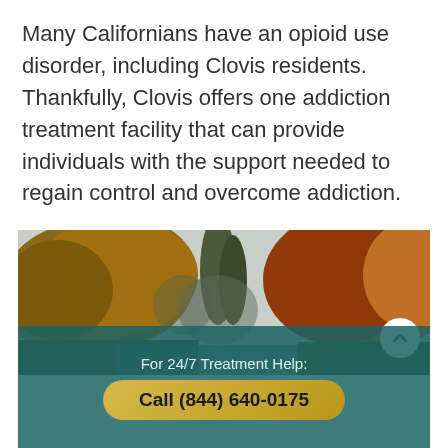Many Californians have an opioid use disorder, including Clovis residents. Thankfully, Clovis offers one addiction treatment facility that can provide individuals with the support needed to regain control and overcome addiction.
[Figure (photo): Autumn landscape photo showing trees with orange and brown foliage. A tall cypress tree stands in the center background. A circular white scroll-up button appears in the lower right of the photo.]
For 24/7 Treatment Help:
Call (844) 640-0175